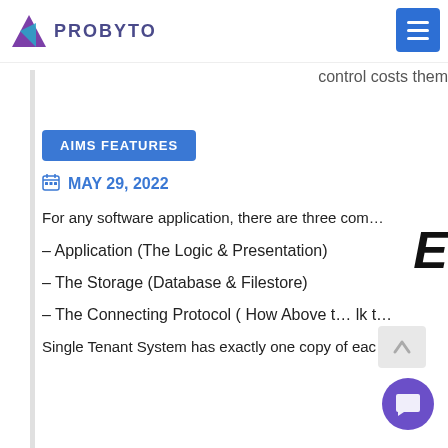Probyto
control costs them
E…
AIMS FEATURES
MAY 29, 2022
For any software application, there are three com…
– Application (The Logic & Presentation)
– The Storage (Database & Filestore)
– The Connecting Protocol ( How Above t… lk t…
Single Tenant System has exactly one copy of eac…